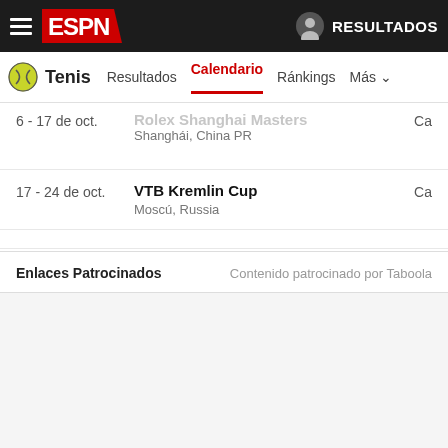ESPN — RESULTADOS
Tenis | Resultados | Calendario | Ránkings | Más
6 - 17 de oct. | Rolex Shanghai Masters | Shanghái, China PR | Ca
17 - 24 de oct. | VTB Kremlin Cup | Moscú, Russia | Ca
Enlaces Patrocinados — Contenido patrocinado por Taboola
Mira cuanto cuesta un
Ashburn: Autos 2021 no